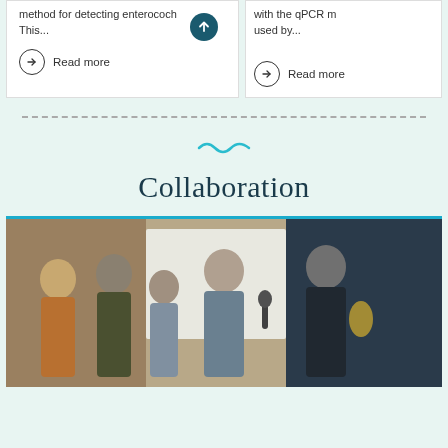method for detecting enterococh This...
Read more
with the qPCR m used by...
Read more
Collaboration
[Figure (photo): Group of five people standing at an event, one person holding a trophy award and papers, appearing to be at a ceremony or conference.]